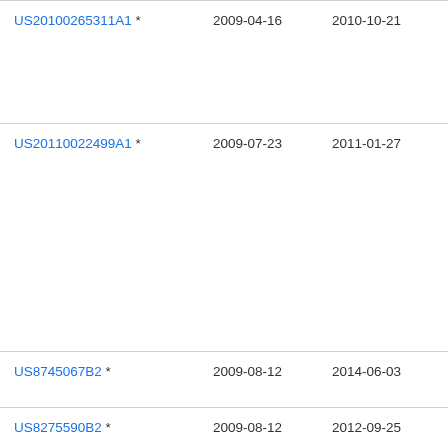| Patent | Filed | Publication Date | Assignee |
| --- | --- | --- | --- |
| US20100265311A1 * | 2009-04-16 | 2010-10-21 | J. C... Cor... |
| US20110022499A1 * | 2009-07-23 | 2011-01-27 | Sha... |
| US8745067B2 * | 2009-08-12 | 2014-06-03 | Go... |
| US8275590B2 * | 2009-08-12 | 2012-09-25 | Zu... |
| US... | 2009-... | 2014-... | ... |